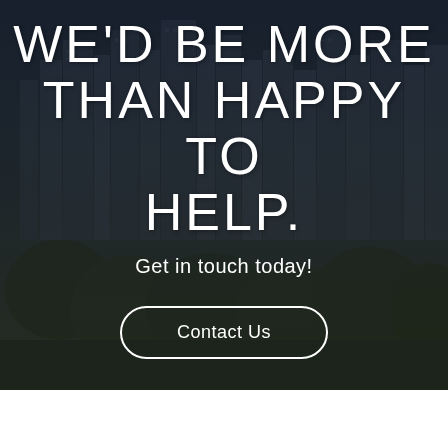[Figure (photo): City skyline photo with tall buildings and trees in the foreground, overlaid with a dark semi-transparent overlay. Text and a button are overlaid on top.]
WE'D BE MORE THAN HAPPY TO HELP.
Get in touch today!
Contact Us